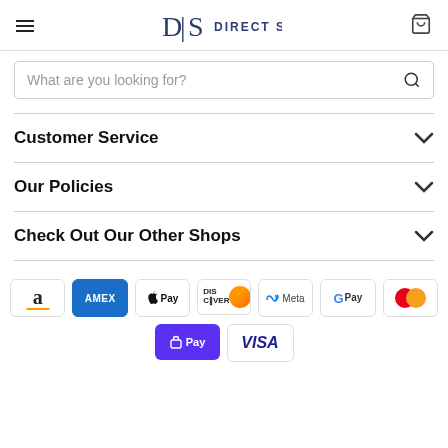Direct Sinks
What are you looking for?
Customer Service
Our Policies
Check Out Our Other Shops
[Figure (logo): Payment method icons: Amazon, American Express, Apple Pay, Discover, Meta Pay, Google Pay, Mastercard, Shop Pay, Visa]